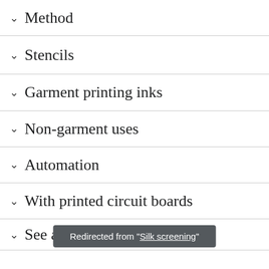Method
Stencils
Garment printing inks
Non-garment uses
Automation
With printed circuit boards
See also
Redirected from "Silk screening"